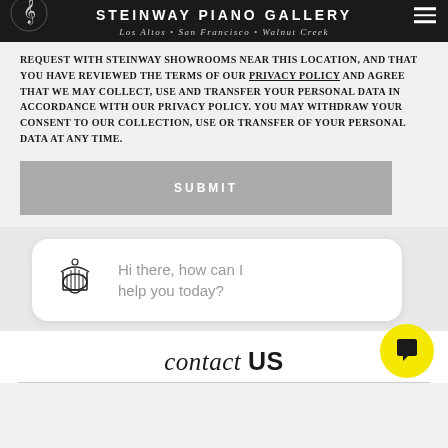STEINWAY PIANO GALLERY
Los Altos • San Francisco • Walnut Creek
REQUEST WITH STEINWAY SHOWROOMS NEAR THIS LOCATION, AND THAT YOU HAVE REVIEWED THE TERMS OF OUR PRIVACY POLICY AND AGREE THAT WE MAY COLLECT, USE AND TRANSFER YOUR PERSONAL DATA IN ACCORDANCE WITH OUR PRIVACY POLICY. YOU MAY WITHDRAW YOUR CONSENT TO OUR COLLECTION, USE OR TRANSFER OF YOUR PERSONAL DATA AT ANY TIME.
[Figure (other): SUBMIT button (gray background, white bold uppercase text)]
[Figure (other): Chat widget bubble with Steinway lyre logo and text: Hi there, how can I help you today?]
contact US
[Figure (other): Yellow circular chat button with speech bubble icon]